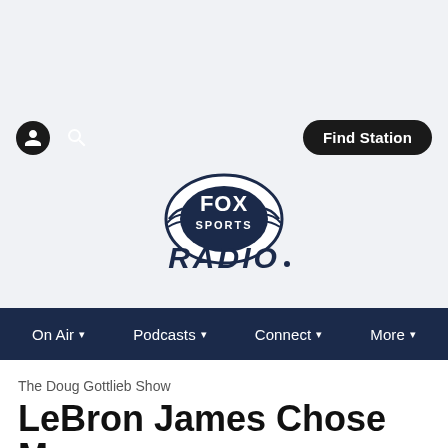[Figure (logo): Fox Sports Radio logo with oval badge and 'RADIO' text below]
On Air  Podcasts  Connect  More
The Doug Gottlieb Show
LeBron James Chose Money
Fox Sports Radio - We Are Fox Sports. #FSR